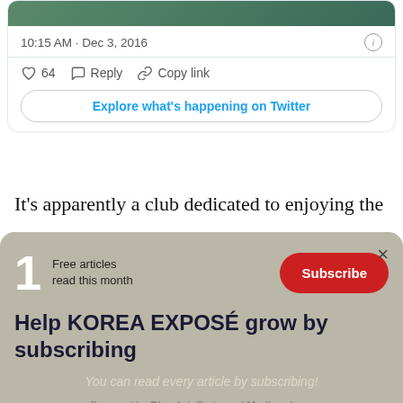[Figure (screenshot): Twitter/X embed card showing tweet metadata: time '10:15 AM · Dec 3, 2016', info icon, like count '64', Reply button, Copy link button, and 'Explore what's happening on Twitter' button]
It's apparently a club dedicated to enjoying the
[Figure (screenshot): Paywall overlay with subscription prompt: '1 Free articles read this month', Subscribe button, 'Help KOREA EXPOSÉ grow by subscribing', 'You can read every article by subscribing!', 'Powered by Bluedot, Partner of Mediasphere']